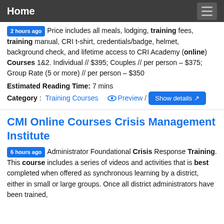Home
2 hours ago Price includes all meals, lodging, training fees, training manual, CRI t-shirt, credentials/badge, helmet, background check, and lifetime access to CRI Academy (online) Courses 1&2. Individual // $395; Couples // per person – $375; Group Rate (5 or more) // per person – $350
Estimated Reading Time: 7 mins
Category: Training Courses   Preview /   Show details
CMI Online Courses Crisis Management Institute
6 hours ago Administrator Foundational Crisis Response Training. This course includes a series of videos and activities that is best completed when offered as synchronous learning by a district, either in small or large groups. Once all district administrators have been trained,